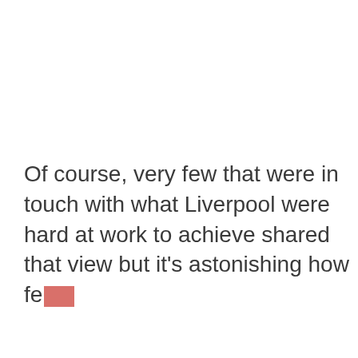Of course, very few that were in touch with what Liverpool were hard at work to achieve shared that view but it's astonishing how few